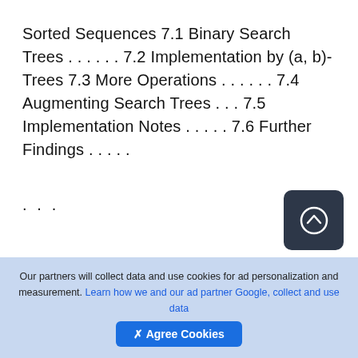Sorted Sequences 7.1 Binary Search Trees . . . . . . 7.2 Implementation by (a, b)-Trees 7.3 More Operations . . . . . . 7.4 Augmenting Search Trees . . . 7.5 Implementation Notes . . . . . 7.6 Further Findings . . . . . . . . . . . . . . . . . . . . . . . . . . . . . . . . . . .
[Figure (other): Scroll-to-top button: dark rounded square with an upward arrow circle icon]
Our partners will collect data and use cookies for ad personalization and measurement. Learn how we and our ad partner Google, collect and use data